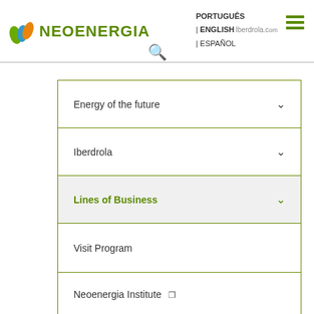[Figure (logo): Neoenergia logo with leaf/flame icon and green text]
PORTUGUÊS | ENGLISH Iberdrola.com | ESPAÑOL
Energy of the future
Iberdrola
Lines of Business
Visit Program
Neoenergia Institute